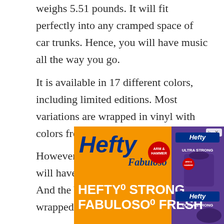weighs 5.51 pounds. It will fit perfectly into any cramped space of car trunks. Hence, you will have music all the way you go.
It is available in 17 different colors, including limited editions. Most variations are wrapped in vinyl with colors from the 2018 Pantone favorite.
However, the Quiet Jungle variation will have a super luxe velvet coating. And the White Nomad is fabric-wrapped with a timeless lends texture.
When it comes to playability, this beautiful belt-driven turntable can spin three speeds of 33⅓, 45, and 78 RPM. It features an adjustable pitch control that allows
[Figure (other): Advertisement banner for Hefty and Fabuloso products with orange background, showing Hefty logo, Fabuloso script logo, and text 'HEFTY STRONG, FABULOSO FRESH' alongside product images on a purple panel.]